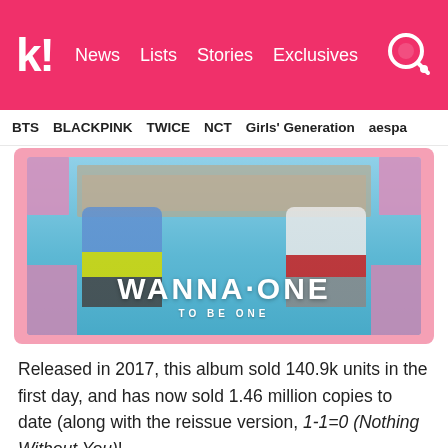k! News  Lists  Stories  Exclusives
BTS  BLACKPINK  TWICE  NCT  Girls' Generation  aespa
[Figure (photo): Wanna One K-pop group album cover 'To Be One' (2017). Two members sitting on a light blue floor with pink wooden crates and pallets in the background. Bold white text reads 'WANNA ONE TO BE ONE'.]
Released in 2017, this album sold 140.9k units in the first day, and has now sold 1.46 million copies to date (along with the reissue version, 1-1=0 (Nothing Without You)!